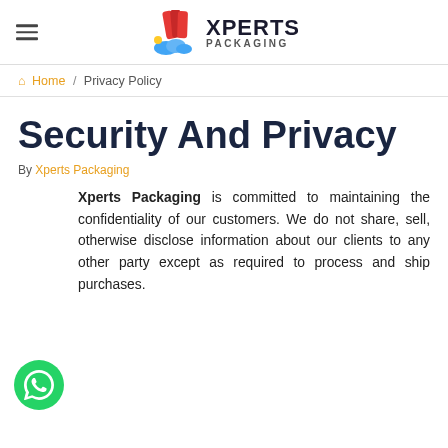Xperts Packaging
Home / Privacy Policy
Security And Privacy
By Xperts Packaging
Xperts Packaging is committed to maintaining the confidentiality of our customers. We do not share, sell, otherwise disclose information about our clients to any other party except as required to process and ship purchases.